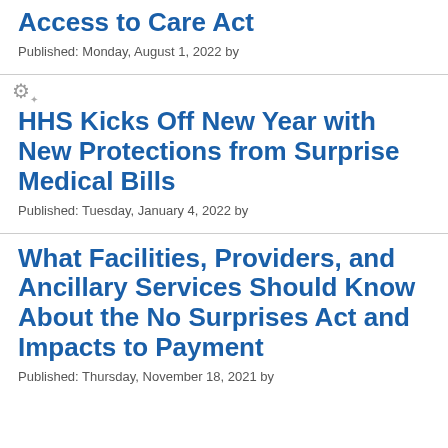Access to Care Act
Published: Monday, August 1, 2022 by
HHS Kicks Off New Year with New Protections from Surprise Medical Bills
Published: Tuesday, January 4, 2022 by
What Facilities, Providers, and Ancillary Services Should Know About the No Surprises Act and Impacts to Payment
Published: Thursday, November 18, 2021 by